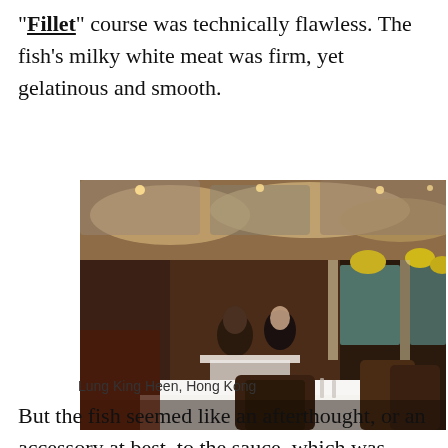"Fillet" course was technically flawless. The fish's milky white meat was firm, yet gelatinous and smooth.
[Figure (photo): Interior of Lung King Heen restaurant in Hong Kong, showing elegant dining room with warm lighting, white-draped tables, brown chairs, and diners seated at tables with yellow flower arrangements.]
Lung King Heen, Hong Kong
But the fish seemed like an afterthought, or an accessory at best, to the sauce, which was